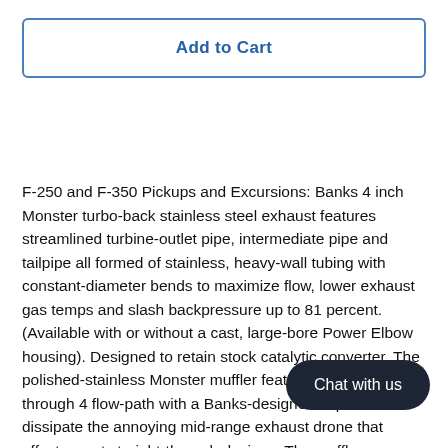Add to Cart
F-250 and F-350 Pickups and Excursions: Banks 4 inch Monster turbo-back stainless steel exhaust features streamlined turbine-outlet pipe, intermediate pipe and tailpipe all formed of stainless, heavy-wall tubing with constant-diameter bends to maximize flow, lower exhaust gas temps and slash backpressure up to 81 percent. (Available with or without a cast, large-bore Power Elbow housing). Designed to retain stock catalytic converter. The polished-stainless Monster muffler features a straight-through 4 flow-path with a Banks-designed exp to dissipate the annoying mid-range exhaust drone that affects most straight-through designs. The muffler